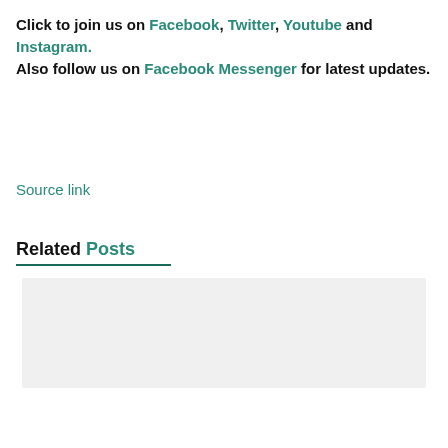Click to join us on Facebook, Twitter, Youtube and Instagram. Also follow us on Facebook Messenger for latest updates.
Source link
Related Posts
[Figure (other): Gray placeholder image box for a related post]